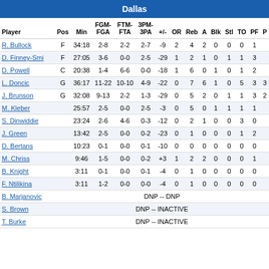Dallas
| Player | Pos | Min | FGM-FGA | FTM-FTA | 3PM-3PA | +/- | OR | Reb | A | Blk | Stl | TO | PF | P |
| --- | --- | --- | --- | --- | --- | --- | --- | --- | --- | --- | --- | --- | --- | --- |
| R. Bullock | F | 34:18 | 2-8 | 2-2 | 2-7 | -9 | 2 | 4 | 2 | 0 | 0 | 0 | 1 |  |
| D. Finney-Smi | F | 27:05 | 3-6 | 0-0 | 2-5 | -29 | 1 | 2 | 1 | 0 | 1 | 1 | 3 |  |
| D. Powell | C | 20:38 | 1-4 | 6-6 | 0-0 | -18 | 1 | 6 | 0 | 1 | 0 | 1 | 2 |  |
| L. Doncic | G | 36:17 | 11-22 | 10-10 | 4-9 | -22 | 0 | 7 | 6 | 1 | 0 | 5 | 3 | 3 |
| J. Brunson | G | 32:08 | 9-13 | 2-2 | 1-3 | -29 | 0 | 5 | 2 | 0 | 1 | 1 | 3 | 2 |
| M. Kleber |  | 25:57 | 2-5 | 0-0 | 2-5 | -3 | 0 | 5 | 0 | 1 | 1 | 1 | 1 |  |
| S. Dinwiddie |  | 23:24 | 2-6 | 4-6 | 0-3 | -12 | 0 | 2 | 1 | 0 | 0 | 3 | 0 |  |
| J. Green |  | 13:42 | 2-5 | 0-0 | 0-2 | -23 | 0 | 1 | 0 | 0 | 0 | 1 | 2 |  |
| D. Bertans |  | 10:23 | 0-1 | 0-0 | 0-1 | -10 | 0 | 0 | 0 | 0 | 0 | 0 | 0 |  |
| M. Chriss |  | 9:46 | 1-5 | 0-0 | 0-2 | +3 | 1 | 2 | 2 | 0 | 0 | 0 | 1 |  |
| B. Knight |  | 3:11 | 0-1 | 0-0 | 0-1 | -4 | 0 | 1 | 0 | 0 | 0 | 0 | 0 |  |
| F. Ntilikina |  | 3:11 | 1-2 | 0-0 | 0-0 | -4 | 0 | 1 | 0 | 0 | 0 | 0 | 0 |  |
| B. Marjanovic | DNP -- DNP |  |  |  |  |  |  |  |  |  |  |  |  |  |
| S. Brown | DNP -- INACTIVE |  |  |  |  |  |  |  |  |  |  |  |  |  |
| T. Burke | DNP -- INACTIVE |  |  |  |  |  |  |  |  |  |  |  |  |  |